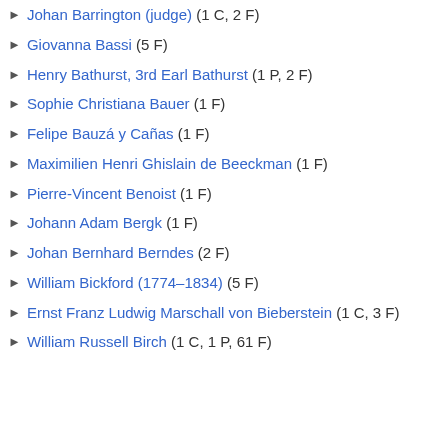► Johan Barrington (judge) (1 C, 2 F)
► Giovanna Bassi (5 F)
► Henry Bathurst, 3rd Earl Bathurst (1 P, 2 F)
► Sophie Christiana Bauer (1 F)
► Felipe Bauzá y Cañas (1 F)
► Maximilien Henri Ghislain de Beeckman (1 F)
► Pierre-Vincent Benoist (1 F)
► Johann Adam Bergk (1 F)
► Johan Bernhard Berndes (2 F)
► William Bickford (1774–1834) (5 F)
► Ernst Franz Ludwig Marschall von Bieberstein (1 C, 3 F)
► William Russell Birch (1 C, 1 P, 61 F)